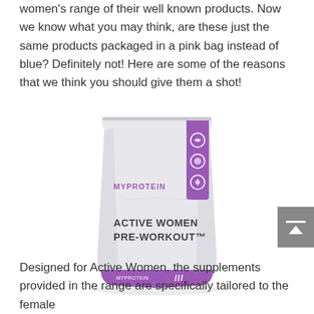women's range of their well known products. Now we know what you may think, are these just the same products packaged in a pink bag instead of blue? Definitely not! Here are some of the reasons that we think you should give them a shot!
[Figure (photo): Myprotein Active Women Pre-Workout product bag in white and purple, with the Myprotein logo and product name on the front.]
Designed for Active Women, the supplements provided in the range are specifically tailored to the female